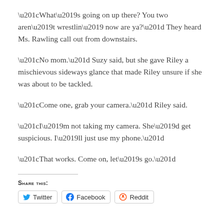“What’s going on up there? You two aren’t wrestlin’ now are ya?” They heard Ms. Rawling call out from downstairs.
“No mom.” Suzy said, but she gave Riley a mischievous sideways glance that made Riley unsure if she was about to be tackled.
“Come one, grab your camera.” Riley said.
“I’m not taking my camera. She’d get suspicious. I’ll just use my phone.”
“That works. Come on, let’s go.”
Share this:
Twitter  Facebook  Reddit